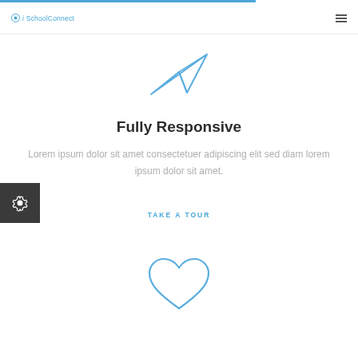iSchoolConnect
[Figure (illustration): Blue paper airplane / send icon outline]
Fully Responsive
Lorem ipsum dolor sit amet consectetuer adipiscing elit sed diam lorem ipsum dolor sit amet.
TAKE A TOUR
[Figure (illustration): Blue heart outline icon]